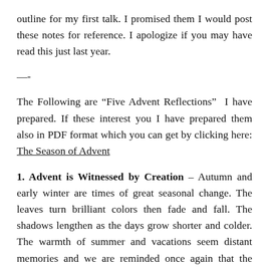outline for my first talk. I promised them I would post these notes for reference. I apologize if you may have read this just last year.
—-
The Following are “Five Advent Reflections”  I have prepared. If these interest you I have prepared them also in PDF format which you can get by clicking here: The Season of Advent
1. Advent is Witnessed by Creation – Autumn and early winter are times of great seasonal change. The leaves turn brilliant colors then fade and fall. The shadows lengthen as the days grow shorter and colder. The warmth of summer and vacations seem distant memories and we are reminded once again that the things of this world last but a moment and pass away.